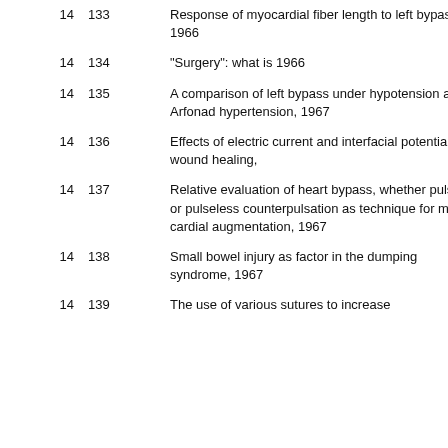|  |  |  |
| --- | --- | --- |
| 14 | 133 | Response of myocardial fiber length to left bypass, 1966 |
| 14 | 134 | "Surgery": what is 1966 |
| 14 | 135 | A comparison of left bypass under hypo and Arfonad hypertension, 1967 |
| 14 | 136 | Effects of electric current and interfacial potential on wound healing, |
| 14 | 137 | Relative evaluation of heart bypass, whether pulsatile or pulseless counterpulsation as technique for myocardial augmentation, 1967 |
| 14 | 138 | Small bowel injury as factor in the dumping syndrome, 1967 |
| 14 | 139 | The use of various sutures to increase |